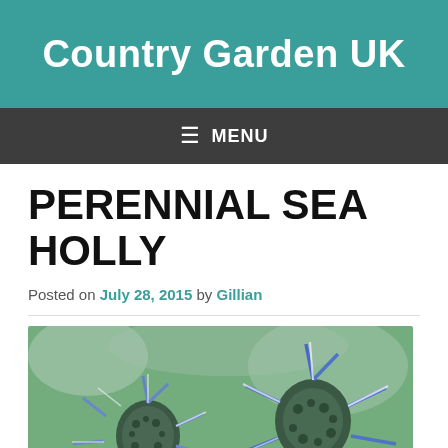Country Garden UK
≡ MENU
PERENNIAL SEA HOLLY
Posted on July 28, 2015 by Gillian
[Figure (photo): Close-up photograph of sea holly (Eryngium) flowers with spiky blue-purple bracts and thistle-like heads, with blurred green background]